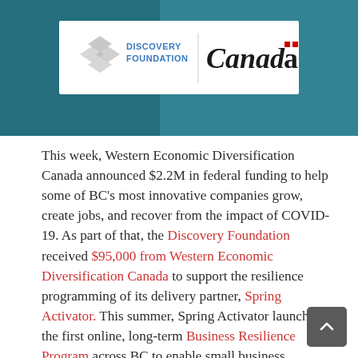[Figure (logo): Discovery Foundation and Canada government logos on white banner over teal background header image]
This week, Western Economic Diversification Canada announced $2.2M in federal funding to help some of BC’s most innovative companies grow, create jobs, and recover from the impact of COVID-19. As part of that, the Discovery Foundation received $95,000 from Western Economic Diversification Canada to support the resilience programming of its delivery partner, Spring Activator. This summer, Spring Activator launched the first online, long-term Business Resilience Program across BC to enable small business recovery post-COVID-19 and to help boost the economy. With this financial support, will continue expanding the already extensive